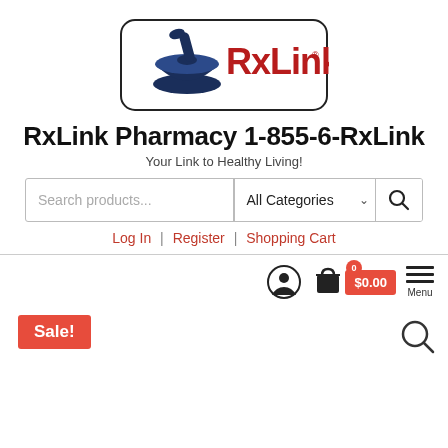[Figure (logo): RxLink pharmacy logo with mortar and pestle icon and red RxLink text on pill-shaped background]
RxLink Pharmacy 1-855-6-RxLink
Your Link to Healthy Living!
[Figure (screenshot): Search bar with text input 'Search products...', 'All Categories' dropdown, and search button]
Log In | Register | Shopping Cart
[Figure (screenshot): Mobile navigation bar with user icon, shopping cart with badge showing 0 and $0.00, and hamburger menu with Menu label]
Sale!
[Figure (screenshot): Search magnifier icon at bottom right]